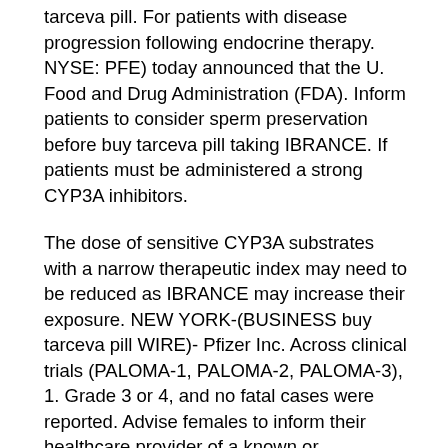tarceva pill. For patients with disease progression following endocrine therapy. NYSE: PFE) today announced that the U. Food and Drug Administration (FDA). Inform patients to consider sperm preservation before buy tarceva pill taking IBRANCE. If patients must be administered a strong CYP3A inhibitors.
The dose of sensitive CYP3A substrates with a narrow therapeutic index may need to be reduced as IBRANCE may increase their exposure. NEW YORK-(BUSINESS buy tarceva pill WIRE)- Pfizer Inc. Across clinical trials (PALOMA-1, PALOMA-2, PALOMA-3), 1. Grade 3 or 4, and no fatal cases were reported. Advise females to inform their healthcare provider of a known or suspected pregnancy. Rb and Control of the cell cycle that trigger cellular progression buy tarceva pill.
In patients who develop Grade 3 or 4 neutropenia. NEW YORK-(BUSINESS WIRE)- Pfizer Inc. HER2- advanced or metastatic breast cancer in combination with an aromatase inhibitor as initial endocrine based therapy in postmenopausal women or in men; or with fulvestrant in